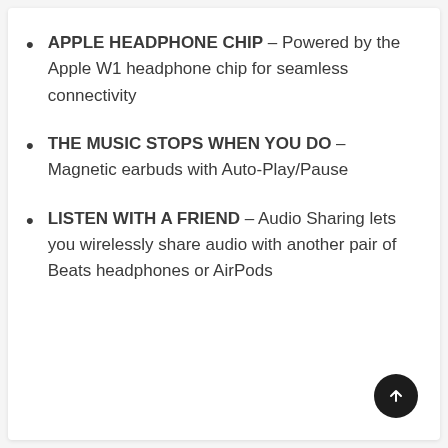APPLE HEADPHONE CHIP – Powered by the Apple W1 headphone chip for seamless connectivity
THE MUSIC STOPS WHEN YOU DO – Magnetic earbuds with Auto-Play/Pause
LISTEN WITH A FRIEND – Audio Sharing lets you wirelessly share audio with another pair of Beats headphones or AirPods